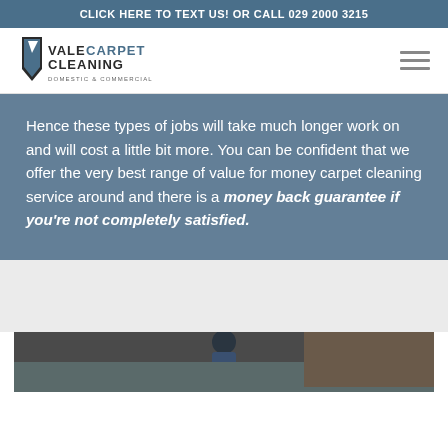CLICK HERE TO TEXT US! OR CALL 029 2000 3215
[Figure (logo): Vale Carpet Cleaning logo — shield/arrow graphic with text VALECARPET CLEANING DOMESTIC & COMMERCIAL]
Hence these types of jobs will take much longer work on and will cost a little bit more. You can be confident that we offer the very best range of value for money carpet cleaning service around and there is a money back guarantee if you're not completely satisfied.
[Figure (photo): Photograph of a person cleaning a carpet in a room, partially visible at bottom of page]